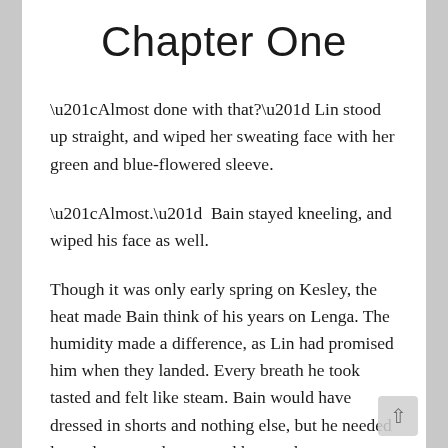Chapter One
“Almost done with that?” Lin stood up straight, and wiped her sweating face with her green and blue-flowered sleeve.
“Almost.”  Bain stayed kneeling, and wiped his face as well.
Though it was only early spring on Kesley, the heat made Bain think of his years on Lenga. The humidity made a difference, as Lin had promised him when they landed. Every breath he took tasted and felt like steam. Bain would have dressed in shorts and nothing else, but he needed long sleeves and pants and heavy shoes to protect him while he worked in Sunsinger’s hold. Working during the day was miserable, heavy, slow and draining. The only saving grace was that at night, Bain and Lin retreated to the bridge, where they